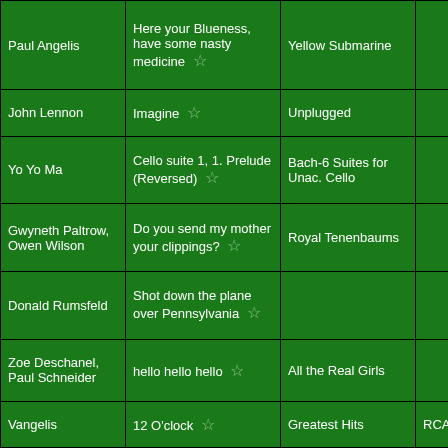| Artist | Song | Album | Label | Year |
| --- | --- | --- | --- | --- |
| Paul Angelis | Here your Blueness, have some nasty medicine ☆ | Yellow Submarine |  | 196… |
| John Lennon | Imagine ☆ | Unplugged |  |  |
| Yo Yo Ma | Cello suite 1, 1. Prelude (Reversed) ☆ | Bach-6 Suites for Unac. Cello |  |  |
| Gwyneth Paltrow, Owen Wilson | Do you send my mother your clippings? ☆ | Royal Tenenbaums |  | 200… |
| Donald Rumsfeld | Shot down the plane over Pennsylvania ☆ |  |  | 200… |
| Zoe Deschanel, Paul Schneider | hello hello hello ☆ | All the Real Girls |  | 200… |
| Vangelis | 12 O'clock ☆ | Greatest Hits | RCA | 199… |